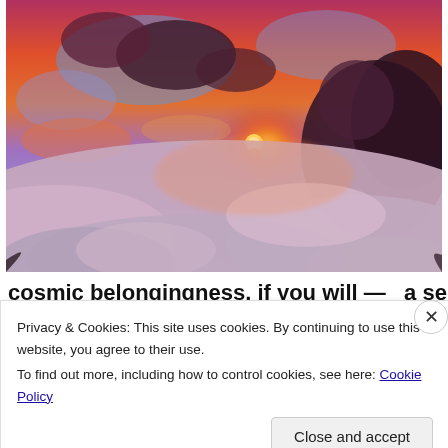[Figure (photo): Dramatic sunset photo taken above clouds, showing vivid orange, red, pink and purple sky with cumulonimbus clouds and a glowing sun near the horizon, viewed from above a sea of lower clouds.]
cosmic belongingness, if you will — a sense that I'm
Privacy & Cookies: This site uses cookies. By continuing to use this website, you agree to their use.
To find out more, including how to control cookies, see here: Cookie Policy